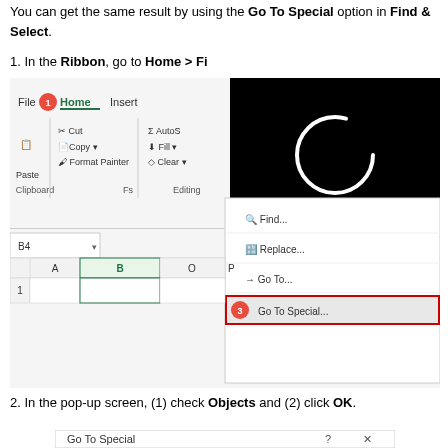You can get the same result by using the Go To Special option in Find & Select.
1. In the Ribbon, go to Home > Fi...
[Figure (screenshot): Excel ribbon screenshot showing Home tab with Find & Select dropdown open, highlighting 'Go To Special...' option with a red badge numbered 3. A black video loading overlay appears in the top-right corner.]
2. In the pop-up screen, (1) check Objects and (2) click OK.
[Figure (screenshot): Go To Special dialog box showing 'Select' section header at the bottom, with a question mark and X buttons in the title bar.]